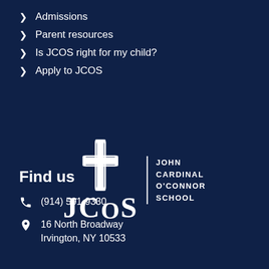Admissions
Parent resources
Is JCOS right for my child?
Apply to JCOS
[Figure (logo): JCOS John Cardinal O'Connor School logo with cross emblem and vertical divider]
Find us
(914) 591-9330
16 North Broadway
Irvington, NY 10533